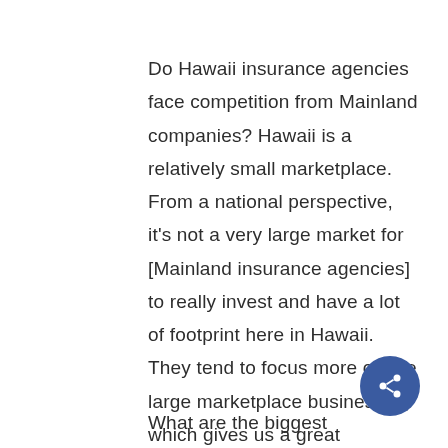Do Hawaii insurance agencies face competition from Mainland companies? Hawaii is a relatively small marketplace. From a national perspective, it's not a very large market for [Mainland insurance agencies] to really invest and have a lot of footprint here in Hawaii. They tend to focus more on the large marketplace businesses, which gives us a great opportunity to work not only in the market of large businesses, but also middle market and small businesses in the state of Hawaii because of the team we can bring and the expertise.
What are the biggest opportunities for this